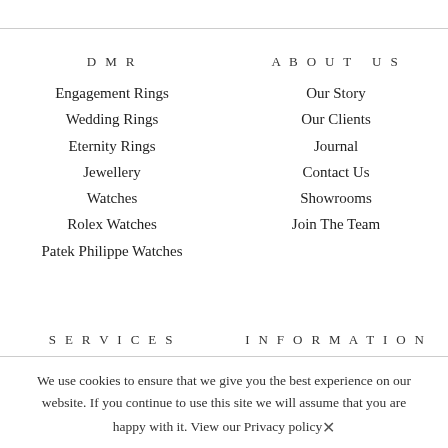DMR
Engagement Rings
Wedding Rings
Eternity Rings
Jewellery
Watches
Rolex Watches
Patek Philippe Watches
ABOUT US
Our Story
Our Clients
Journal
Contact Us
Showrooms
Join The Team
SERVICES
INFORMATION
We use cookies to ensure that we give you the best experience on our website. If you continue to use this site we will assume that you are happy with it. View our Privacy policy
Accept